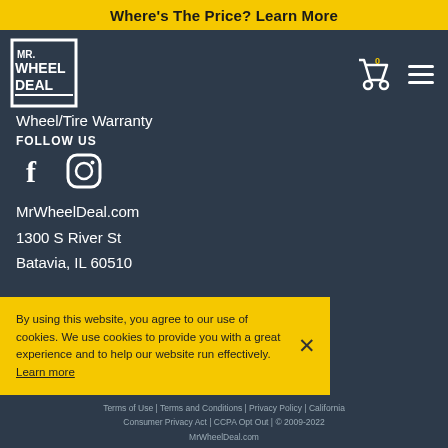Where's The Price? Learn More
[Figure (logo): Mr. Wheel Deal logo - white text on dark background with border]
Wheel/Tire Warranty
FOLLOW US
[Figure (illustration): Facebook and Instagram social media icons in white]
MrWheelDeal.com
1300 S River St
Batavia, IL 60510
By using this website, you agree to our use of cookies. We use cookies to provide you with a great experience and to help our website run effectively. Learn more
Terms of Use | Terms and Conditions | Privacy Policy | California Consumer Privacy Act | CCPA Opt Out | © 2009-2022 MrWheelDeal.com